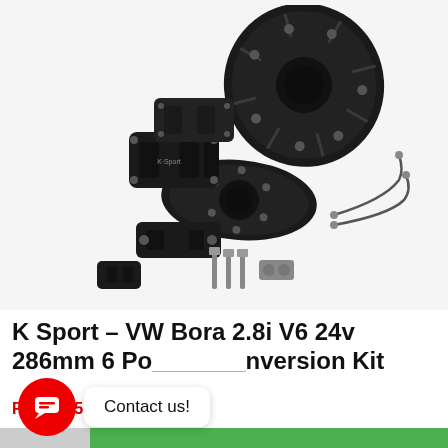[Figure (photo): Product photo of a K Sport big brake conversion kit showing two slotted black brake discs, multiple black calipers, brackets, brake lines, and hardware on a white background.]
K Sport – VW Bora 2.8i V6 24v 286mm 6 Po[t] Conversion Kit
From £351.81